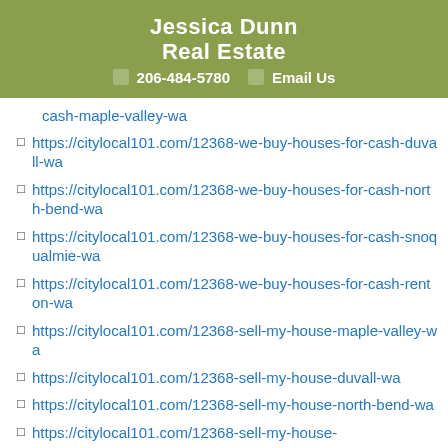Jessica Dunn Real Estate
📞 206-484-5780  ✉ Email Us
https://citylocal101.com/12368-we-buy-houses-for-cash-duvall-wa
https://citylocal101.com/12368-we-buy-houses-for-cash-north-bend-wa
https://citylocal101.com/12368-we-buy-houses-for-cash-snoqualmie-wa
https://citylocal101.com/12368-we-buy-houses-for-cash-renton-wa
https://citylocal101.com/12368-sell-my-house-maple-valley-wa
https://citylocal101.com/12368-sell-my-house-duvall-wa
https://citylocal101.com/12368-sell-my-house-north-bend-wa
https://citylocal101.com/12368-sell-my-...